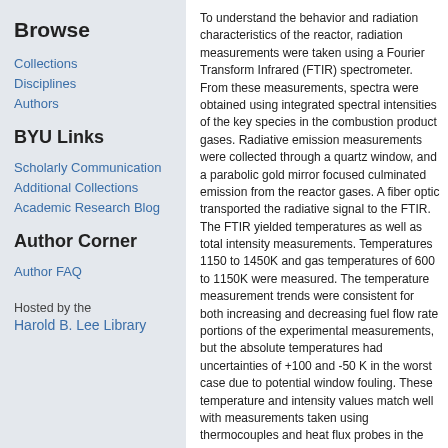Browse
Collections
Disciplines
Authors
BYU Links
Scholarly Communication
Additional Collections
Academic Research Blog
Author Corner
Author FAQ
Hosted by the
Harold B. Lee Library
To understand the behavior and radiation characteristics of the reactor, radiation measurements were taken using a Fourier Transform Infrared (FTIR) spectrometer. From these measurements, spectra were obtained using integrated spectral intensities of the key species in the combustion product gases. Radiative emission measurements were collected through a quartz window, and a parabolic gold mirror focused culminated emission from the reactor gases. A fiber optic transported the radiative signal to the FTIR. The FTIR yielded temperatures as well as total intensity measurements. Temperatures 1150 to 1450K and gas temperatures of 600 to 1150K were measured. The temperature measurement trends were consistent for both increasing and decreasing fuel flow rate portions of the experimental measurements, but the absolute temperatures had uncertainties of +100 and -50 K in the worst case due to potential window fouling. These temperature and intensity values match well with measurements taken using thermocouples and heat flux probes in the reactor.
Degree
MS
College and Department
Mechanical Engineering
Rights